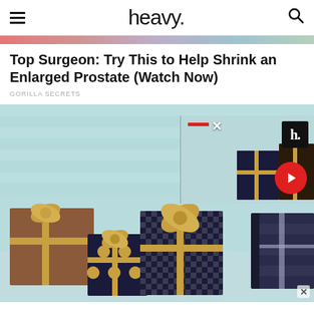heavy.
[Figure (photo): Red/colorful banner image strip at top, partially visible]
Top Surgeon: Try This to Help Shrink an Enlarged Prostate (Watch Now)
GORILLA SECRETS
[Figure (photo): Photo of wrapped gift boxes with gold ribbons and bows on a light blue background, with a video overlay panel in upper right showing a thumbnail with red bar, X close button, heavy 'h.' badge, and red arrow button]